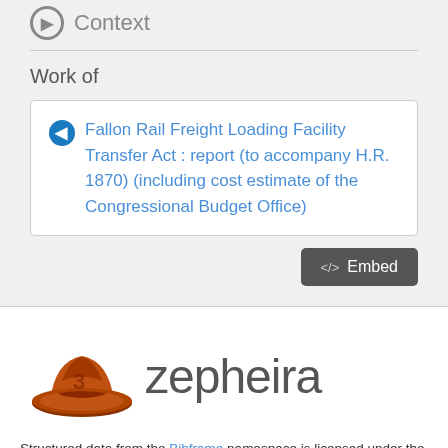Context
Work of
Fallon Rail Freight Loading Facility Transfer Act : report (to accompany H.R. 1870) (including cost estimate of the Congressional Budget Office)
[Figure (logo): Zepheira logo with orange cowboy hat graphic and 'zepheira' wordmark in dark grey]
Structured data from the Bibframe namespace is licensed under the Creative Commons Attribution 4.0 International License by Indiana State Library. Additional terms may apply to data associated with third party namespaces.